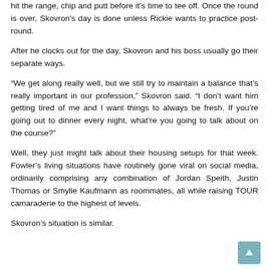hit the range, chip and putt before it's time to tee off. Once the round is over, Skovron's day is done unless Rickie wants to practice post-round.
After he clocks out for the day, Skovron and his boss usually go their separate ways.
“We get along really well, but we still try to maintain a balance that’s really important in our profession,” Skovron said. “I don’t want him getting tired of me and I want things to always be fresh. If you’re going out to dinner every night, what’re you going to talk about on the course?”
Well, they just might talk about their housing setups for that week. Fowler’s living situations have routinely gone viral on social media, ordinarily comprising any combination of Jordan Speith, Justin Thomas or Smylie Kaufmann as roommates, all while raising TOUR camaraderie to the highest of levels.
Skovron’s situation is similar.